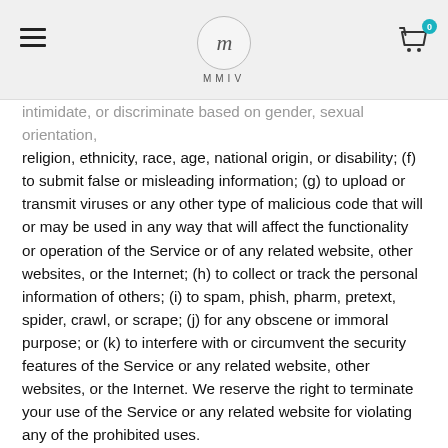MMIV (logo)
intimidate, or discriminate based on gender, sexual orientation, religion, ethnicity, race, age, national origin, or disability; (f) to submit false or misleading information; (g) to upload or transmit viruses or any other type of malicious code that will or may be used in any way that will affect the functionality or operation of the Service or of any related website, other websites, or the Internet; (h) to collect or track the personal information of others; (i) to spam, phish, pharm, pretext, spider, crawl, or scrape; (j) for any obscene or immoral purpose; or (k) to interfere with or circumvent the security features of the Service or any related website, other websites, or the Internet. We reserve the right to terminate your use of the Service or any related website for violating any of the prohibited uses.
SECTION 13 – DISCLAIMER OF WARRANTIES; LIMITATION OF LIABILITY
We do not guarantee, represent or warrant that your use of our